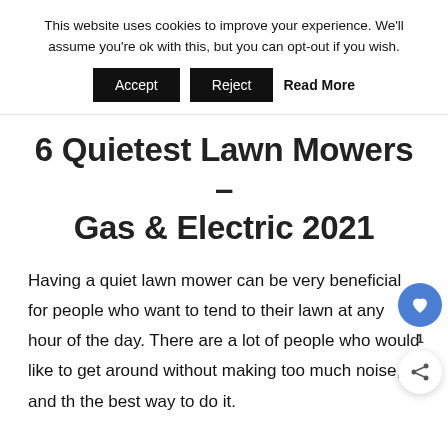This website uses cookies to improve your experience. We'll assume you're ok with this, but you can opt-out if you wish.
Accept  Reject  Read More
6 Quietest Lawn Mowers – Gas & Electric 2021
Having a quiet lawn mower can be very beneficial for people who want to tend to their lawn at any hour of the day. There are a lot of people who would like to get around without making too much noise, and th the best way to do it.